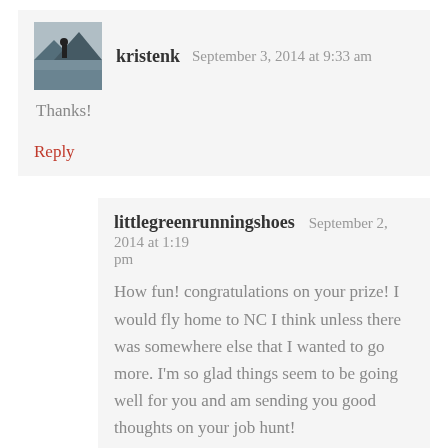[Figure (photo): Small avatar photo of kristenk showing a person near water/mountains]
kristenk   September 3, 2014 at 9:33 am
Thanks!
Reply
littlegreenrunningshoes   September 2, 2014 at 1:19 pm
How fun! congratulations on your prize! I would fly home to NC I think unless there was somewhere else that I wanted to go more. I'm so glad things seem to be going well for you and am sending you good thoughts on your job hunt!
Reply